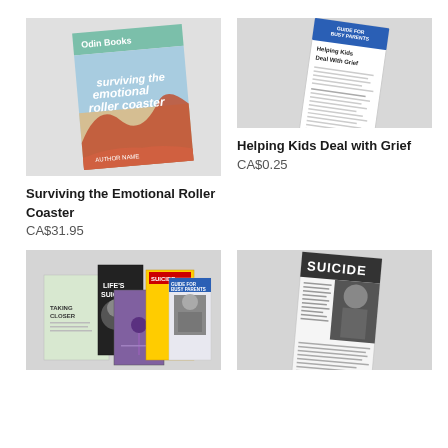[Figure (photo): Book cover: Surviving the Emotional Roller Coaster, with Odin Books label at top]
Surviving the Emotional Roller Coaster
CA$31.95
[Figure (photo): Pamphlet: Helping Kids Deal with Grief, Guide for Busy Parents]
Helping Kids Deal with Grief
CA$0.25
[Figure (photo): Multiple books and pamphlets including Taking a Closer Look and Suicide-related materials]
[Figure (photo): Pamphlet titled Suicide on grey and black tones]